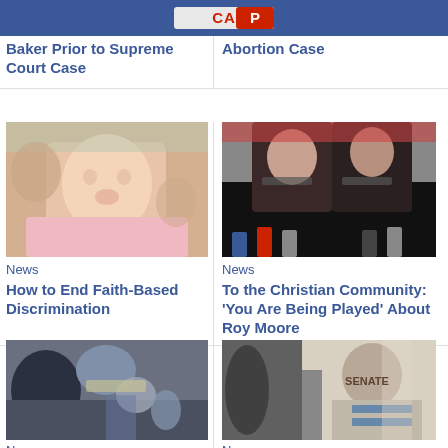CAP (logo/header bar)
Baker Prior to Supreme Court Case
Abortion Case
[Figure (photo): Close-up photo of a newborn baby being held, wearing pink clothing]
News
How to End Faith-Based Discrimination
[Figure (photo): Two women at a press conference with microphones, one comforting the other]
News
To the Christian Community: 'You Are Being Played' About Roy Moore
[Figure (photo): Person working on machinery or equipment in low light]
News
[Figure (photo): Older man in suit speaking at what appears to be a Senate hearing]
News